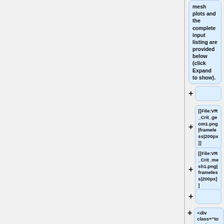mesh plots and the complete input listing are provided below (click Expand to show).
+
+ [[File:VR_Crit_geom1.png|frameless|200px]]
+ [[File:VR_Crit_mesh1.png|frameless|200px]]
+
+ <div class="toccolours mw-collapsible mw-collapsed" style|width:60